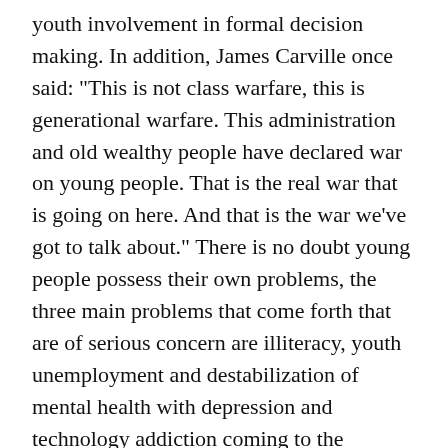youth involvement in formal decision making. In addition, James Carville once said: "This is not class warfare, this is generational warfare. This administration and old wealthy people have declared war on young people. That is the real war that is going on here. And that is the war we've got to talk about." There is no doubt young people possess their own problems, the three main problems that come forth that are of serious concern are illiteracy, youth unemployment and destabilization of mental health with depression and technology addiction coming to the forefront. According to UNESCO, 17 percent of the population of the world today is not literate, about two-thirds of them women. The situation is even grimmer with statistics showing globally that 122 million youth are illiterate in which young women represent a total of 60.7 percent. An enormous amount of 67.4 million children are currently out of school. This number is